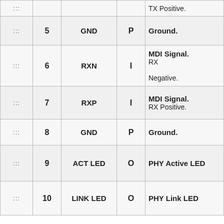|  | Pin | Name | Dir | Description |
| --- | --- | --- | --- | --- |
| ::: |  |  |  | TX Positive. |
| ::: | 5 | GND | P | Ground. |
| ::: | 6 | RXN | I | MDI Signal. RX Negative. |
| ::: | 7 | RXP | I | MDI Signal. RX Positive. |
| ::: | 8 | GND | P | Ground. |
| ::: | 9 | ACT LED | O | PHY Active LED |
| ::: | 10 | LINK LED | O | PHY Link LED |